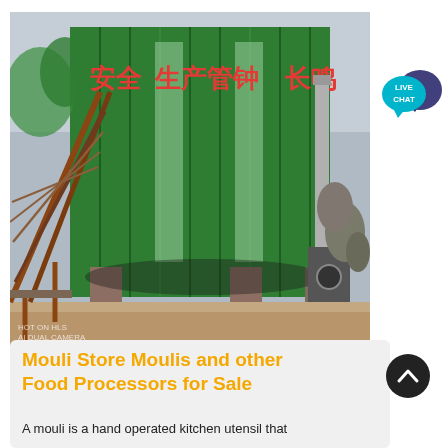[Figure (photo): Industrial building with green corrugated metal facade displaying Chinese characters in red (安全 生产管钟 长鸣). Rusty steel conveyor/staircase structure on the left side. A tall metal chimney/exhaust pipe on the right. Sandy/dirt ground in foreground. Overcast sky. Watermark text HOT ON HLS AI DUAL CAMERA at bottom left.]
Mouli Store Moulis and other Food Processors for Sale
A mouli is a hand operated kitchen utensil that